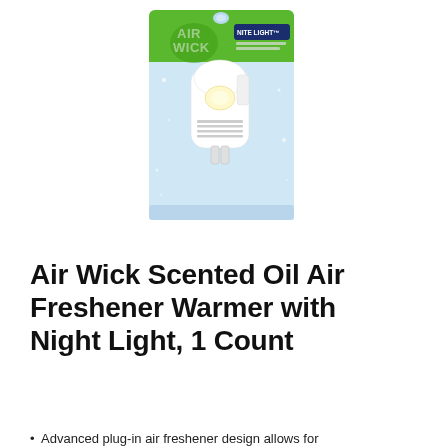[Figure (photo): Air Wick Nite Light scented oil air freshener warmer product in retail blister packaging, showing a white plug-in device with a night light, set against a blue background with the Air Wick logo in green and white.]
Air Wick Scented Oil Air Freshener Warmer with Night Light, 1 Count
Advanced plug-in air freshener design allows for